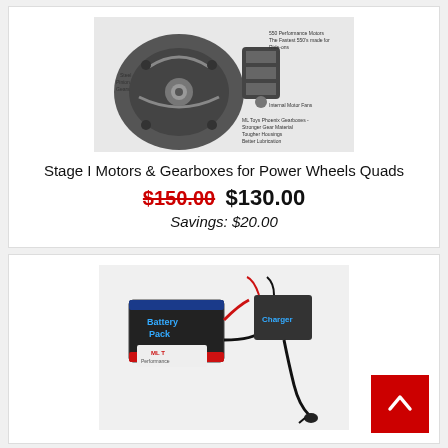[Figure (photo): Photo of Stage I Motors and Gearboxes showing steel pinion gears, 550 Performance Motors (fastest 550s made for ride-ons), internal motor fans, and ML Toys Phoenix gearboxes with stronger gear material, tougher housings, better lubrication]
Stage I Motors & Gearboxes for Power Wheels Quads
$150.00  $130.00
Savings: $20.00
[Figure (photo): Photo of a battery pack and charger product from ML Toys Performance]